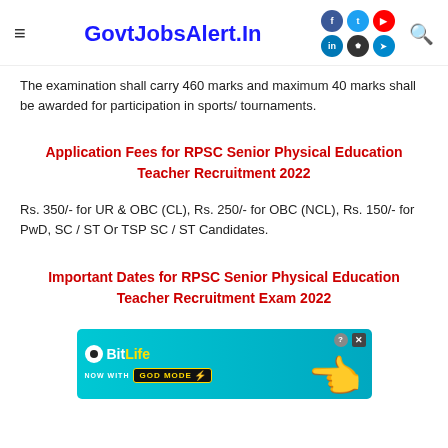GovtJobsAlert.In
The examination shall carry 460 marks and maximum 40 marks shall be awarded for participation in sports/ tournaments.
Application Fees for RPSC Senior Physical Education Teacher Recruitment 2022
Rs. 350/- for UR & OBC (CL), Rs. 250/- for OBC (NCL), Rs. 150/- for PwD, SC / ST Or TSP SC / ST Candidates.
Important Dates for RPSC Senior Physical Education Teacher Recruitment Exam 2022
[Figure (infographic): BitLife advertisement banner with 'NOW WITH GOD MODE' text on a teal background with a hand/finger graphic]